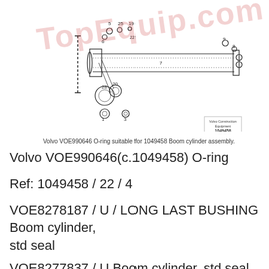[Figure (engineering-diagram): Technical exploded-view diagram of a Boom cylinder assembly (part 1049458) showing numbered components including O-rings, seals, bushings, and cylinder body. Part numbers 1, 3, 5, 6, 7, 8, 9, 19, 20, 22, 25, 28 are labeled on various components.]
Volvo VOE990646 O-ring suitable for 1049458 Boom cylinder assembly.
Volvo VOE990646(c.1049458) O-ring
Ref: 1049458 / 22 / 4
VOE8278187 / U / LONG LAST BUSHING Boom cylinder, std seal
VOE8277837 / U Boom cylinder, std seal